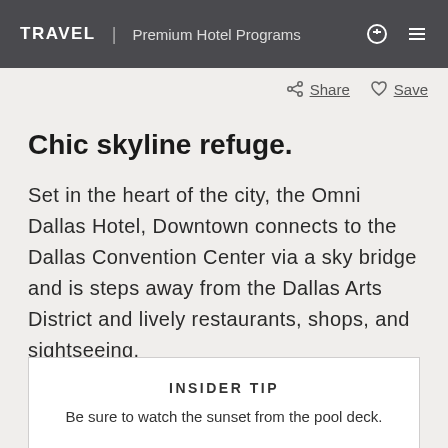TRAVEL | Premium Hotel Programs
Share  Save
Chic skyline refuge.
Set in the heart of the city, the Omni Dallas Hotel, Downtown connects to the Dallas Convention Center via a sky bridge and is steps away from the Dallas Arts District and lively restaurants, shops, and sightseeing.
INSIDER TIP
Be sure to watch the sunset from the pool deck.